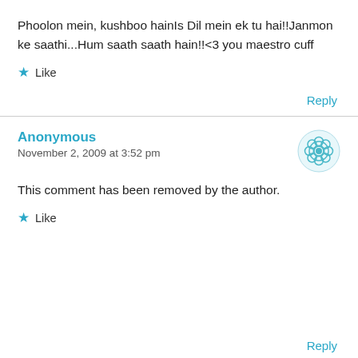Phoolon mein, kushboo hainIs Dil mein ek tu hai!!Janmon ke saathi...Hum saath saath hain!!<3 you maestro cuff
Like
Reply
Anonymous
November 2, 2009 at 3:52 pm
This comment has been removed by the author.
Like
Reply